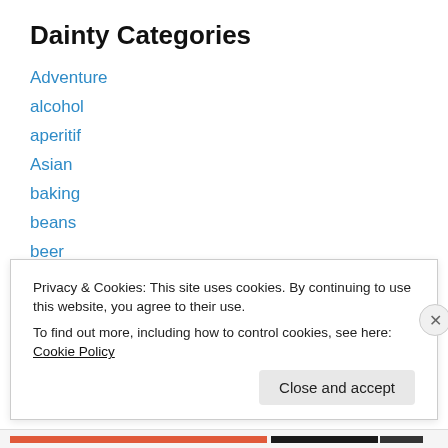Dainty Categories
Adventure
alcohol
aperitif
Asian
baking
beans
beer
beets
bread
breakfast
broccoli
Privacy & Cookies: This site uses cookies. By continuing to use this website, you agree to their use.
To find out more, including how to control cookies, see here: Cookie Policy
Close and accept